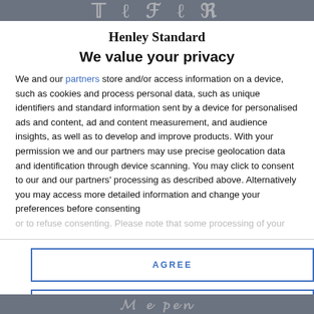Henley Standard (newspaper header bar)
Henley Standard
We value your privacy
We and our partners store and/or access information on a device, such as cookies and process personal data, such as unique identifiers and standard information sent by a device for personalised ads and content, ad and content measurement, and audience insights, as well as to develop and improve products. With your permission we and our partners may use precise geolocation data and identification through device scanning. You may click to consent to our and our partners' processing as described above. Alternatively you may access more detailed information and change your preferences before consenting or to refuse consenting. Please note that some processing of your
AGREE
MORE OPTIONS
Henley Standard (newspaper footer bar)